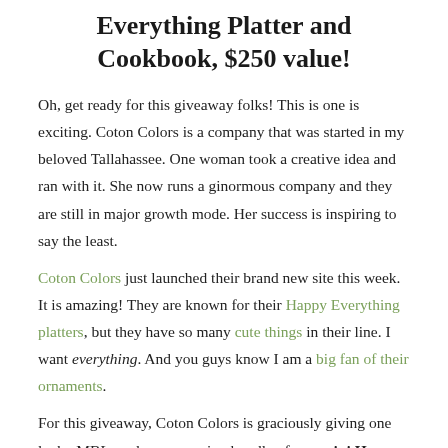Everything Platter and Cookbook, $250 value!
Oh, get ready for this giveaway folks! This is one is exciting. Coton Colors is a company that was started in my beloved Tallahassee. One woman took a creative idea and ran with it. She now runs a ginormous company and they are still in major growth mode. Her success is inspiring to say the least.
Coton Colors just launched their brand new site this week. It is amazing! They are known for their Happy Everything platters, but they have so many cute things in their line. I want everything. And you guys know I am a big fan of their ornaments.
For this giveaway, Coton Colors is graciously giving one lucky MBL reader an amazing bundle of one mini Happy Everything Platter, a platter stand, a party hat attachment, a dragonfly